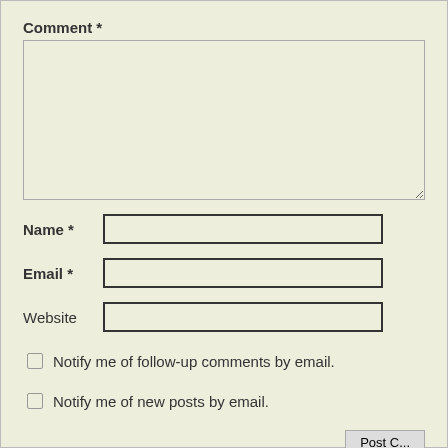Comment *
Name *
Email *
Website
Notify me of follow-up comments by email.
Notify me of new posts by email.